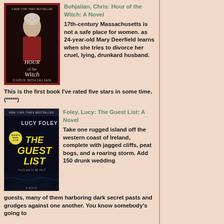[Figure (photo): Book cover for Hour of the Witch by Chris Bohjalian - dark cover showing a woman in historical dress]
Bohjalian, Chris: Hour of the Witch: A Novel
17th-century Massachusetts is not a safe place for women. as 24-year-old Mary Deerfield learns when she tries to divorce her cruel, lying, drunkard husband. This is the first book I've rated five stars in some time. (*****)
[Figure (photo): Book cover for The Guest List by Lucy Foley - dark moody cover with island and storm]
Foley, Lucy: The Guest List: A Novel
Take one rugged island off the western coast of Ireland, complete with jagged cliffs, peat bogs, and a roaring storm. Add 150 drunk wedding guests, many of them harboring dark secret pasts and grudges against one another. You know somebody's going to